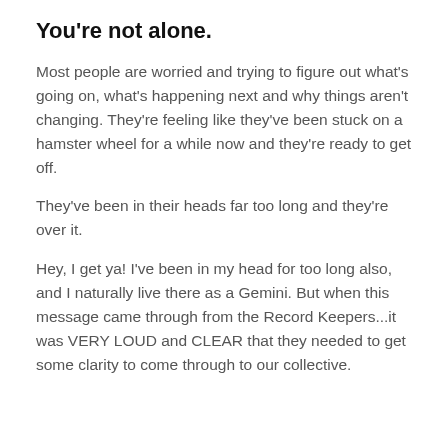You're not alone.
Most people are worried and trying to figure out what's going on, what's happening next and why things aren't changing. They're feeling like they've been stuck on a hamster wheel for a while now and they're ready to get off.
They've been in their heads far too long and they're over it.
Hey, I get ya!  I've been in my head for too long also, and I naturally live there as a Gemini. But when this message came through from the Record Keepers...it was VERY LOUD and CLEAR that they needed to get some clarity to come through to our collective.